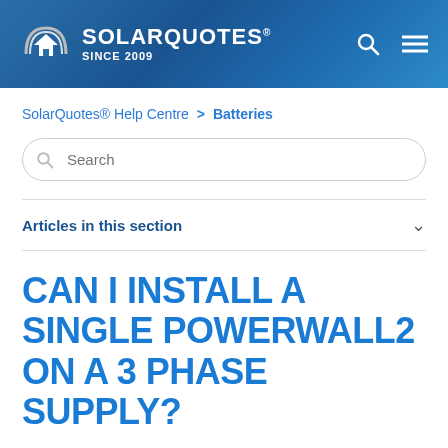[Figure (logo): SolarQuotes logo with house icon and rainbow arch, white text on blue gradient header, SINCE 2009 tagline, with search and menu icons on the right]
SolarQuotes® Help Centre  >  Batteries
Search
Articles in this section
CAN I INSTALL A SINGLE POWERWALL2 ON A 3 PHASE SUPPLY?